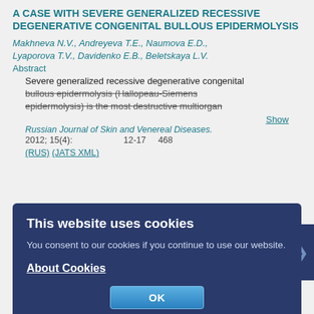A CASE WITH SEVERE GENERALIZED RECESSIVE DEGENERATIVE CONGENITAL BULLOUS EPIDERMOLYSIS
Makhneva N.V., Andreyeva T.E., Naumova E.D., Lyaporova T.V., Davidenko E.B., Beletskaya L.V.
Abstract
Severe generalized recessive degenerative congenital bullous epidermolysis (Hallopeau-Siemens epidermolysis) is the most destructive multiorgan
Show
Russian Journal of Skin and Venereal Diseases. 2012; 15(4): 12-17   468
(RUS) (JATS XML)
This website uses cookies
You consent to our cookies if you continue to use our website.
About Cookies
OK
ANHYDROTIC ECTODERMAL DYSPLASIA
Ivanova I.N., Serdyukova E.A., Ikonnikova T.I.
Abstract
A rare hereditary disease - anhydrotic ectodermal dysplasia - is described. The basic clinical aspects of the syndrome diagnosis are presented. Two clinical
Show
Russian Journal of Skin and Venereal Diseases.